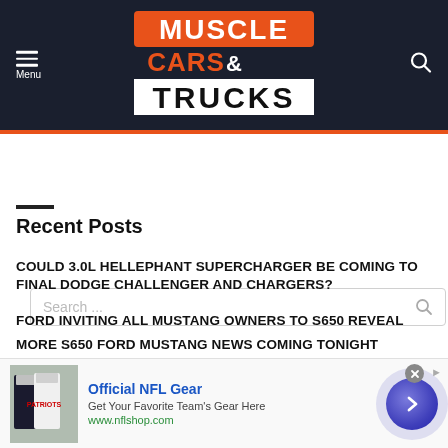[Figure (logo): Muscle Cars & Trucks website header logo with navigation menu button and search icon on dark navy background]
[Figure (screenshot): Search input bar with placeholder text 'Search ...' and magnifying glass icon]
Recent Posts
COULD 3.0L HELLEPHANT SUPERCHARGER BE COMING TO FINAL DODGE CHALLENGER AND CHARGERS?
FORD INVITING ALL MUSTANG OWNERS TO S650 REVEAL
MORE S650 FORD MUSTANG NEWS COMING TONIGHT
FORD MUSTANG NITE PONY IS THE NAME CHOSEN FOR
[Figure (infographic): Advertisement banner for Official NFL Gear from nflshop.com with NFL jersey image and navigation arrow button]